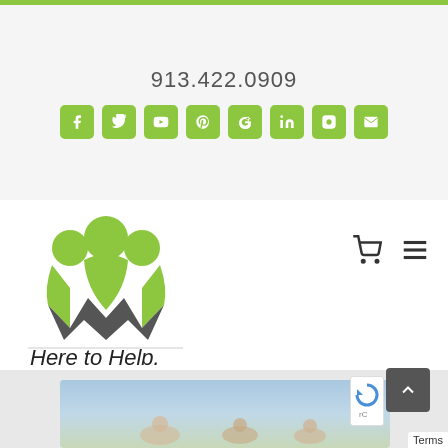913.422.0909
[Figure (logo): Social media icon bar with green rounded square icons: Facebook, Twitter, YouTube, Pinterest, Google+, LinkedIn, Instagram, Email]
[Figure (logo): Company logo with three green stylized figures forming a W shape, with text 'Here to Help.' below, plus shopping cart and hamburger menu icons]
[Figure (photo): Partial photo of people at a beach or outdoor setting, visible at bottom of page]